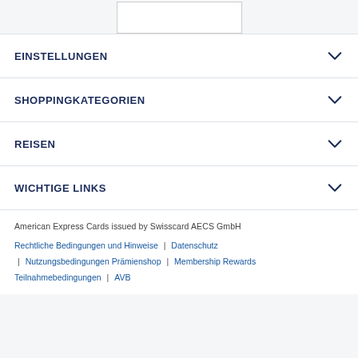[Figure (illustration): Credit card image placeholder box at top center]
EINSTELLUNGEN
SHOPPINGKATEGORIEN
REISEN
WICHTIGE LINKS
American Express Cards issued by Swisscard AECS GmbH
Rechtliche Bedingungen und Hinweise | Datenschutz | Nutzungsbedingungen Prämienshop | Membership Rewards Teilnahmebedingungen | AVB